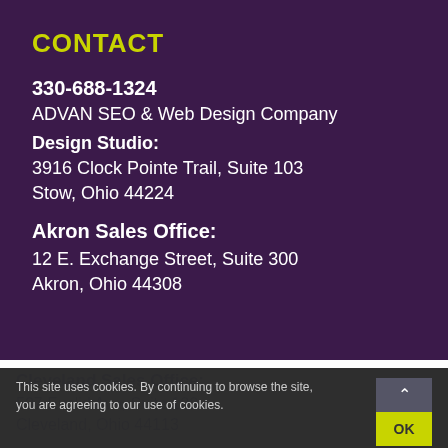CONTACT
330-688-1324
ADVAN SEO & Web Design Company
Design Studio:
3916 Clock Pointe Trail, Suite 103
Stow, Ohio 44224
Akron Sales Office:
12 E. Exchange Street, Suite 300
Akron, Ohio 44308
Cleveland Sales Office:
507 Euclid Ave, Suite 100
Cleveland, Ohio 44113
This site uses cookies. By continuing to browse the site, you are agreeing to our use of cookies.